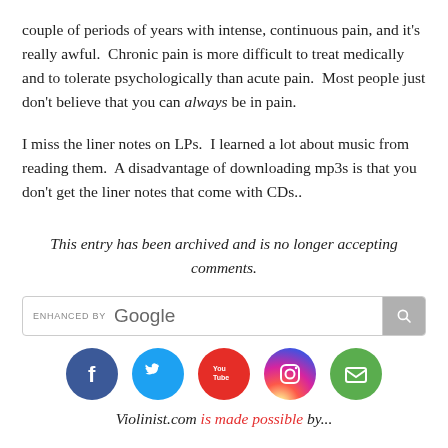couple of periods of years with intense, continuous pain, and it's really awful.  Chronic pain is more difficult to treat medically and to tolerate psychologically than acute pain.  Most people just don't believe that you can always be in pain.
I miss the liner notes on LPs.  I learned a lot about music from reading them.  A disadvantage of downloading mp3s is that you don't get the liner notes that come with CDs..
This entry has been archived and is no longer accepting comments.
[Figure (screenshot): Google search bar with 'ENHANCED BY Google' label and search button]
[Figure (infographic): Social media icons: Facebook, Twitter, YouTube, Instagram, Email]
Violinist.com is made possible by...